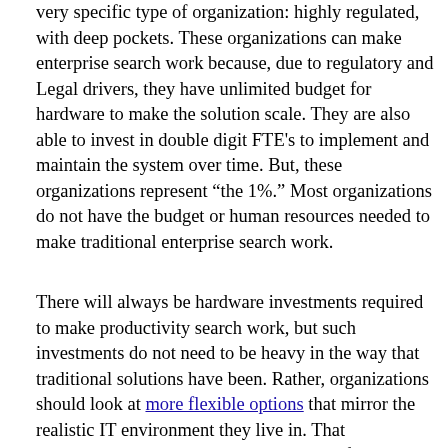very specific type of organization: highly regulated, with deep pockets. These organizations can make enterprise search work because, due to regulatory and Legal drivers, they have unlimited budget for hardware to make the solution scale. They are also able to invest in double digit FTE's to implement and maintain the system over time. But, these organizations represent "the 1%." Most organizations do not have the budget or human resources needed to make traditional enterprise search work.
There will always be hardware investments required to make productivity search work, but such investments do not need to be heavy in the way that traditional solutions have been. Rather, organizations should look at more flexible options that mirror the realistic IT environment they live in. That environment typically includes a hybrid of on-premise, virtual, and cloud-based infrastructure and